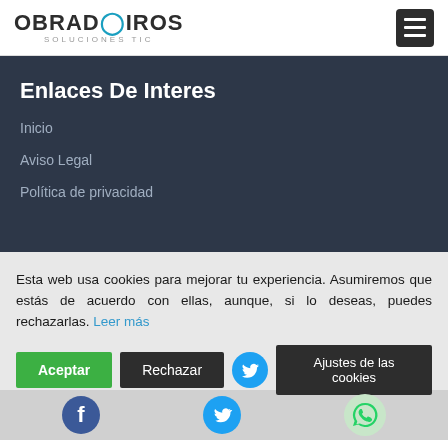OBRADOIROS SOLUCIONES TIC
Enlaces De Interes
Inicio
Aviso Legal
Política de privacidad
Esta web usa cookies para mejorar tu experiencia. Asumiremos que estás de acuerdo con ellas, aunque, si lo deseas, puedes rechazarlas. Leer más
Aceptar | Rechazar | Ajustes de las cookies